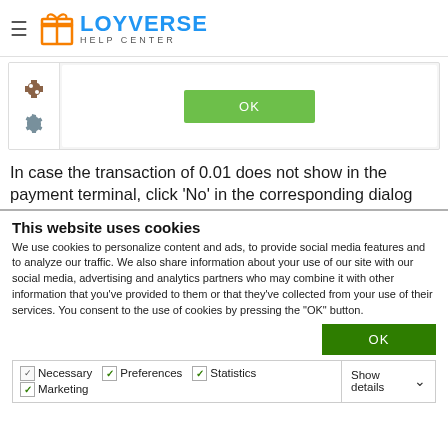LOYVERSE HELP CENTER
[Figure (screenshot): Screenshot of a Loyverse POS interface showing a sidebar with puzzle and gear icons, and a green OK button in the main content area.]
In case the transaction of 0.01 does not show in the payment terminal, click ‘No’ in the corresponding dialog
This website uses cookies
We use cookies to personalize content and ads, to provide social media features and to analyze our traffic. We also share information about your use of our site with our social media, advertising and analytics partners who may combine it with other information that you've provided to them or that they've collected from your use of their services. You consent to the use of cookies by pressing the "OK" button.
OK
Necessary  Preferences  Statistics  Marketing  Show details